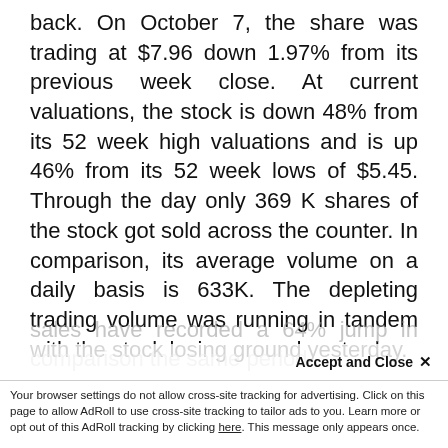back. On October 7, the share was trading at $7.96 down 1.97% from its previous week close. At current valuations, the stock is down 48% from its 52 week high valuations and is up 46% from its 52 week lows of $5.45. Through the day only 369 K shares of the stock got sold across the counter. In comparison, its average volume on a daily basis is 633K. The depleting trading volume was running in tandem with the stock losing ground yesterday.
The strong dividend payout is in the back drop of strong performance the company has been able to post over the previous few quarters. Its sales have recorded a 64% jump in comparison
Accept and Close ×
Your browser settings do not allow cross-site tracking for advertising. Click on this page to allow AdRoll to use cross-site tracking to tailor ads to you. Learn more or opt out of this AdRoll tracking by clicking here. This message only appears once.